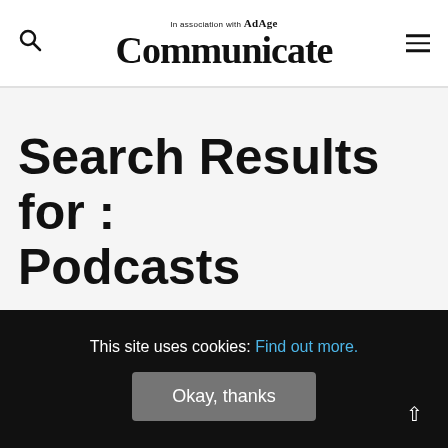In association with AdAge — Communicate
Search Results for : Podcasts
[Figure (photo): Partial photo visible at the bottom of the content area, gray toned image]
This site uses cookies: Find out more.
Okay, thanks